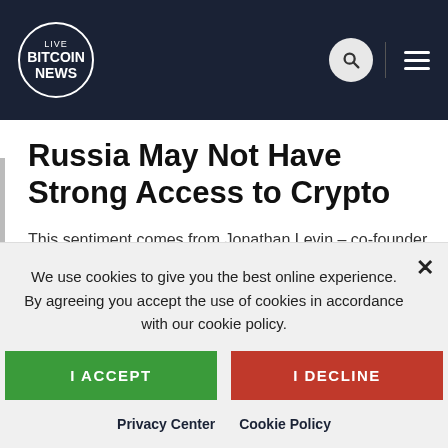Live Bitcoin News
officials that Chainalysis has encountered states are trying to acquire crypto – and the time of taking this ——— directed to suggest this to happen.
Russia May Not Have Strong Access to Crypto
This sentiment comes from Jonathan Levin – co-founder and chief strategy officer at Chainalysis, a blockchain analysis firm – and a panel of alleged
We use cookies to give you the best online experience. By agreeing you accept the use of cookies in accordance with our cookie policy.
I ACCEPT
I DECLINE
Privacy Center   Cookie Policy